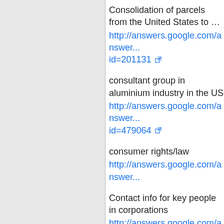Consolidation of parcels from the United States to …
http://answers.google.com/answers/...id=201131
consultant group in aluminium industry in the US
http://answers.google.com/answers/...id=479064
consumer rights/law
http://answers.google.com/answers/...
Contact info for key people in corporations
http://answers.google.com/answers/...
contacting dental benefit managers
http://answers.google.com/answers/...id=438047